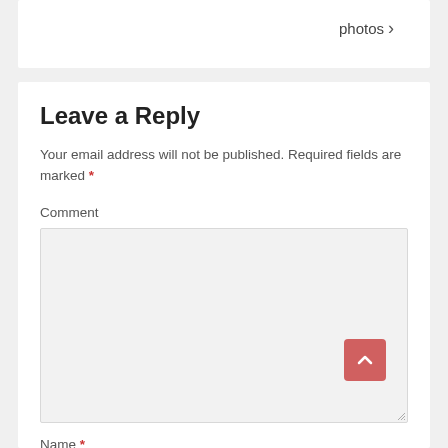photos ›
Leave a Reply
Your email address will not be published. Required fields are marked *
Comment
Name *